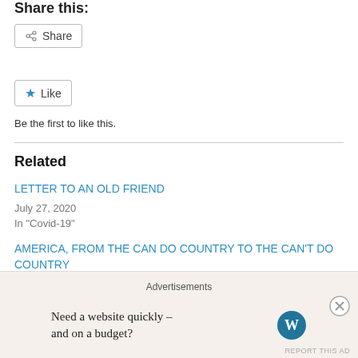Share this:
[Figure (other): Share button with share icon]
[Figure (other): Like button with star icon]
Be the first to like this.
Related
LETTER TO AN OLD FRIEND
July 27, 2020
In "Covid-19"
AMERICA, FROM THE CAN DO COUNTRY TO THE CAN'T DO COUNTRY
June 21, 2020
In "Coronavirus"
Advertisements
Need a website quickly – and on a budget?